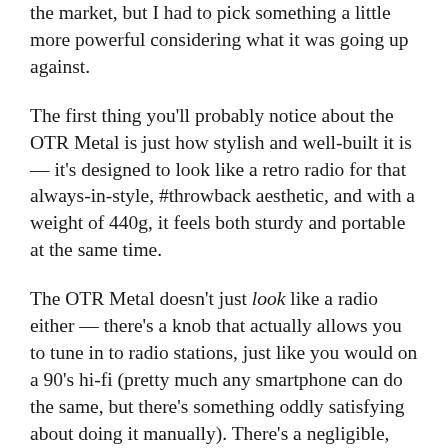the market, but I had to pick something a little more powerful considering what it was going up against.
The first thing you'll probably notice about the OTR Metal is just how stylish and well-built it is — it's designed to look like a retro radio for that always-in-style, #throwback aesthetic, and with a weight of 440g, it feels both sturdy and portable at the same time.
The OTR Metal doesn't just look like a radio either — there's a knob that actually allows you to tune in to radio stations, just like you would on a 90's hi-fi (pretty much any smartphone can do the same, but there's something oddly satisfying about doing it manually). There's a negligible, yet noticeable amount of static no matter how precisely I tried to tune it, but it does add to the old school charm.